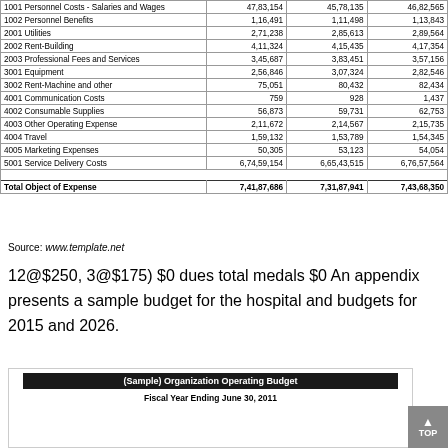|  | Col1 | Col2 | Col3 |
| --- | --- | --- | --- |
| 1001 Personnel Costs - Salaries and Wages | 47,83,154 | 45,78,135 | 46,82,565 |
| 1002 Personnel Benefits | 1,16,491 | 1,11,498 | 1,13,843 |
| 2001 Utilities | 2,71,238 | 2,85,613 | 2,89,564 |
| 2002 Rent-Building | 4,11,324 | 4,15,435 | 4,17,354 |
| 2003 Professional Fees and Services | 3,45,687 | 3,83,451 | 3,57,156 |
| 3001 Equipment | 2,56,846 | 3,07,324 | 2,82,546 |
| 3002 Rent-Machine and other | 75,051 | 80,432 | 82,434 |
| 4001 Communication Costs | 759 | 928 | 1,437 |
| 4002 Consumable Supplies | 56,873 | 59,731 | 62,753 |
| 4003 Other Operating Expense | 2,11,672 | 2,14,567 | 2,15,735 |
| 4004 Travel | 1,59,132 | 1,53,789 | 1,54,345 |
| 4005 Marketing Expenses | 50,305 | 53,123 | 54,054 |
| 5001 Service Delivery Costs | 6,74,59,154 | 6,65,43,515 | 6,76,57,564 |
| (spacer) |  |  |  |
| Total Object of Expense | 7,41,87,686 | 7,31,87,941 | 7,43,68,350 |
Source: www.template.net
12@$250, 3@$175) $0 dues total medals $0 An appendix presents a sample budget for the hospital and budgets for 2015 and 2026.
[Figure (other): (Sample) Organization Operating Budget table header showing Fiscal Year Ending June 30, 2011]